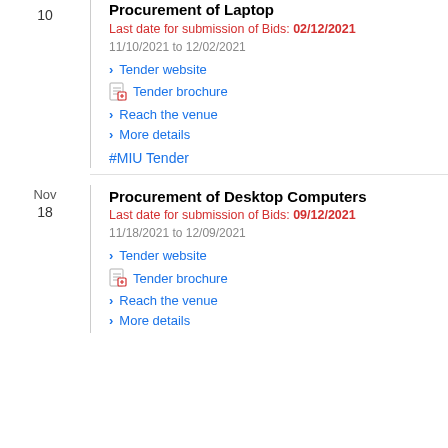10
Procurement of Laptop
Last date for submission of Bids: 02/12/2021
11/10/2021 to 12/02/2021
> Tender website
[icon] Tender brochure
> Reach the venue
> More details
#MIU Tender
Nov
18
Procurement of Desktop Computers
Last date for submission of Bids: 09/12/2021
11/18/2021 to 12/09/2021
> Tender website
[icon] Tender brochure
> Reach the venue
> More details